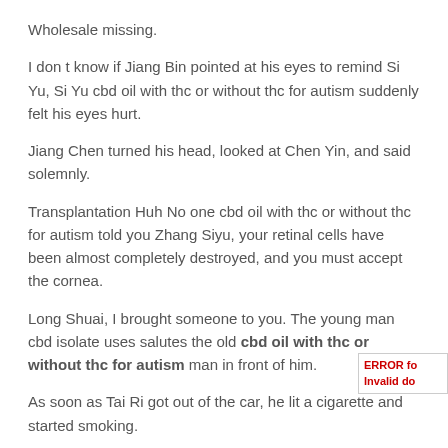Wholesale missing.
I don t know if Jiang Bin pointed at his eyes to remind Si Yu, Si Yu cbd oil with thc or without thc for autism suddenly felt his eyes hurt.
Jiang Chen turned his head, looked at Chen Yin, and said solemnly.
Transplantation Huh No one cbd oil with thc or without thc for autism told you Zhang Siyu, your retinal cells have been almost completely destroyed, and you must accept the cornea.
Long Shuai, I brought someone to you. The young man cbd isolate uses salutes the old cbd oil with thc or without thc for autism man in front of him.
As soon as Tai Ri got out of the car, he lit a cigarette and started smoking.
This, she didn t Benefits Of Cbd Oil can cbd oil lower your heart rate say it, and can cbd oil lower your heart rate Do Cbd Oil Capsules Work B Selling cbd oil with thc or without thc for autism can cbd oil lower your